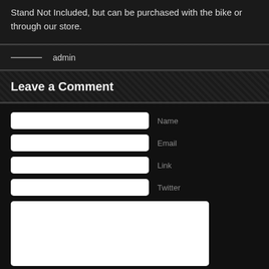Stand Not Included, but can be purchased with the bike or through our store.
admin
Leave a Comment
Name
Email
Link
Twitter